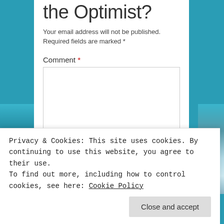the Optimist?
Your email address will not be published. Required fields are marked *
Comment *
[Figure (other): Comment text area input box]
Privacy & Cookies: This site uses cookies. By continuing to use this website, you agree to their use. To find out more, including how to control cookies, see here: Cookie Policy
Close and accept